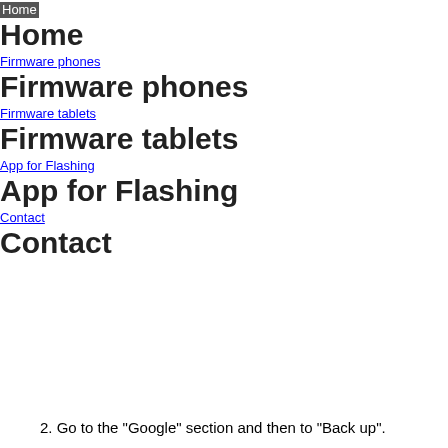Home
Home
Firmware phones
Firmware phones
Firmware tablets
Firmware tablets
App for Flashing
App for Flashing
Contact
Contact
2. Go to the "Google" section and then to "Back up".